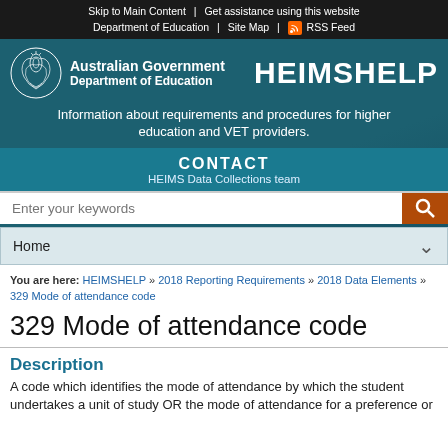Skip to Main Content | Get assistance using this website | Department of Education | Site Map | RSS Feed
[Figure (screenshot): Australian Government Department of Education logo with crest, HEIMSHELP header banner in teal, tagline, CONTACT bar, search bar, Home navigation bar]
You are here: HEIMSHELP » 2018 Reporting Requirements » 2018 Data Elements » 329 Mode of attendance code
329 Mode of attendance code
Description
A code which identifies the mode of attendance by which the student undertakes a unit of study OR the mode of attendance for a preference or